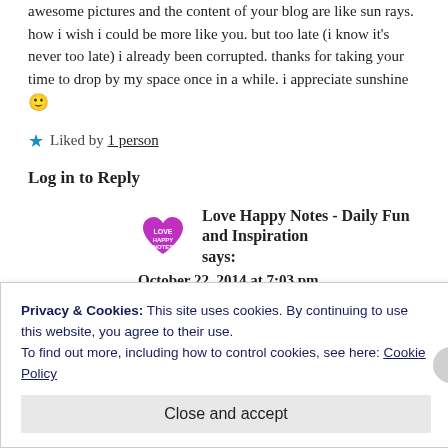awesome pictures and the content of your blog are like sun rays. how i wish i could be more like you. but too late (i know it's never too late) i already been corrupted. thanks for taking your time to drop by my space once in a while. i appreciate sunshine 🙂
★ Liked by 1 person
Log in to Reply
Love Happy Notes - Daily Fun and Inspiration says:
October 22, 2014 at 7:03 pm
Privacy & Cookies: This site uses cookies. By continuing to use this website, you agree to their use. To find out more, including how to control cookies, see here: Cookie Policy
Close and accept